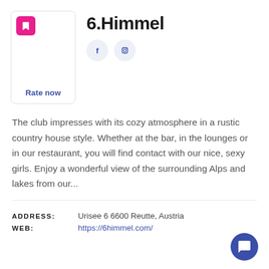6.Himmel
[Figure (logo): Bookmark icon in pink/magenta square with rounded corners]
Rate now
[Figure (illustration): Facebook and Instagram social media icons in light blue circles]
The club impresses with its cozy atmosphere in a rustic country house style. Whether at the bar, in the lounges or in our restaurant, you will find contact with our nice, sexy girls. Enjoy a wonderful view of the surrounding Alps and lakes from our...
ADDRESS: Urisee 6 6600 Reutte, Austria
WEB: https://6himmel.com/